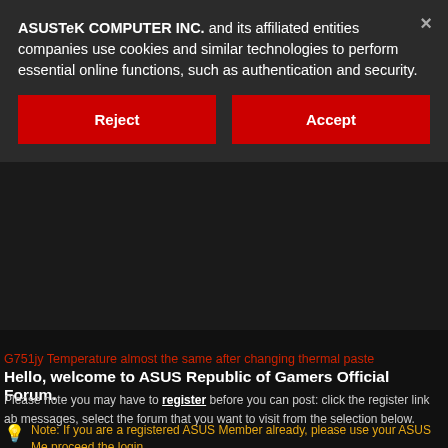ASUSTeK COMPUTER INC. and its affiliated entities companies use cookies and similar technologies to perform essential online functions, such as authentication and security.
Reject
Accept
G751JY Temperature almost the same after changing thermal paste
Hello, welcome to ASUS Republic of Gamers Official Forum.
Please note you may have to register before you can post: click the register link ab messages, select the forum that you want to visit from the selection below.
Note: If you are a registered ASUS Member already, please use your ASUS Me proceed the login.
Results 1 to 10 of 35
THREAD: G751JY TEMPERATURE ALMOST THE S
CHANGING THERMAL PASTE